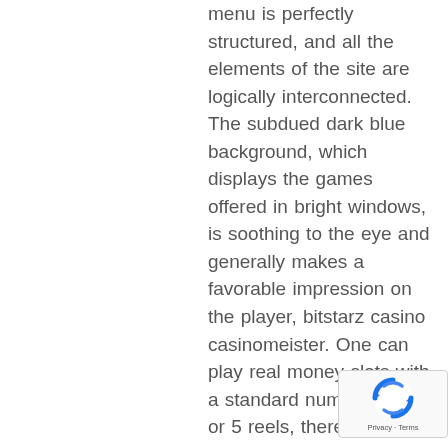menu is perfectly structured, and all the elements of the site are logically interconnected. The subdued dark blue background, which displays the games offered in bright windows, is soothing to the eye and generally makes a favorable impression on the player, bitstarz casino casinomeister. One can play real money slots with a standard number of 3 or 5 reels, there are the ones with a different number of reels as well as the ones with totally unconventional reel setups. The diversity of storylines, themes and features is also
[Figure (other): reCAPTCHA badge with spinning arrows logo and 'Privacy - Terms' text]